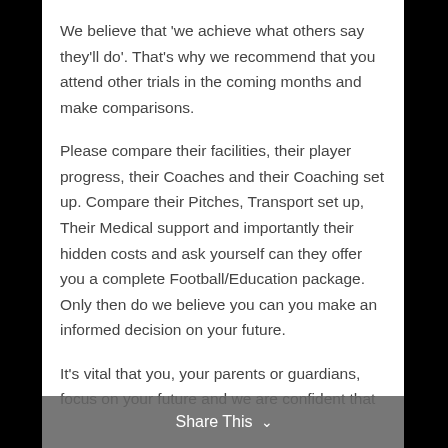We believe that 'we achieve what others say they'll do'. That's why we recommend that you attend other trials in the coming months and make comparisons.
Please compare their facilities, their player progress, their Coaches and their Coaching set up. Compare their Pitches, Transport set up, Their Medical support and importantly their hidden costs and ask yourself can they offer you a complete Football/Education package. Only then do we believe you can you make an informed decision on your future.
It's vital that you, your parents or guardians, focus on your future and we are confident that